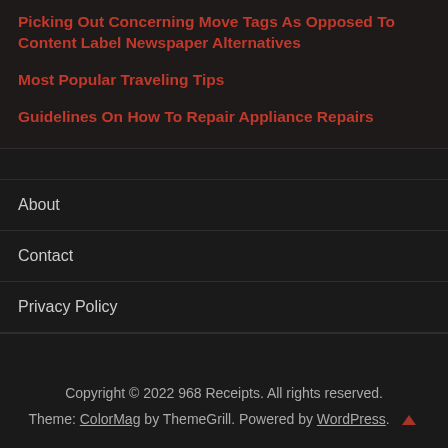Picking Out Concerning Move Tags As Opposed To Content Label Newspaper Alternatives
Most Popular Traveling Tips
Guidelines On How To Repair Appliance Repairs
About
Contact
Privacy Policy
Copyright © 2022 968 Receipts. All rights reserved. Theme: ColorMag by ThemeGrill. Powered by WordPress.